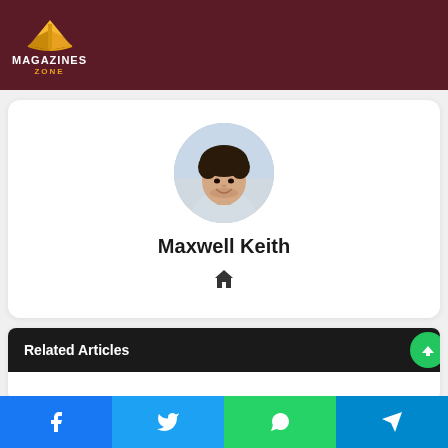[Figure (logo): Magazines Zone logo with golden book/M icon and white text on dark maroon header background]
[Figure (photo): Circular profile photo of a smiling young man with curly dark hair wearing a light grey shirt]
Maxwell Keith
[Figure (other): Home icon]
Related Articles
[Figure (other): Social share bar with Facebook, Twitter, WhatsApp, and Telegram buttons]